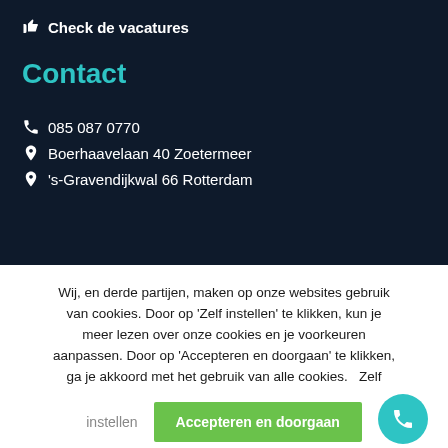Check de vacatures
Contact
085 087 0770
Boerhaavelaan 40 Zoetermeer
's-Gravendijkwal 66 Rotterdam
Wij, en derde partijen, maken op onze websites gebruik van cookies. Door op ‘Zelf instellen’ te klikken, kun je meer lezen over onze cookies en je voorkeuren aanpassen. Door op ‘Accepteren en doorgaan’ te klikken, ga je akkoord met het gebruik van alle cookies.
Zelf instellen
Accepteren en doorgaan